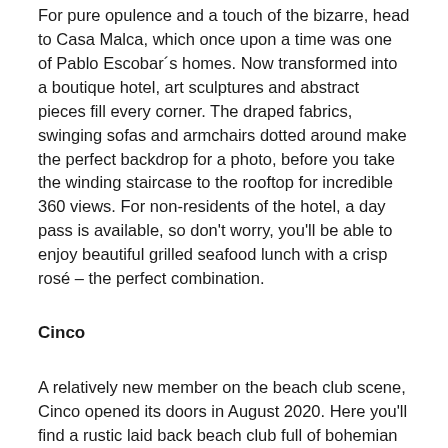For pure opulence and a touch of the bizarre, head to Casa Malca, which once upon a time was one of Pablo Escobar´s homes. Now transformed into a boutique hotel, art sculptures and abstract pieces fill every corner. The draped fabrics, swinging sofas and armchairs dotted around make the perfect backdrop for a photo, before you take the winding staircase to the rooftop for incredible 360 views. For non-residents of the hotel, a day pass is available, so don't worry, you'll be able to enjoy beautiful grilled seafood lunch with a crisp rosé – the perfect combination.
Cinco
A relatively new member on the beach club scene, Cinco opened its doors in August 2020. Here you'll find a rustic laid back beach club full of bohemian charm. Located on the beach road in a quieter part of Tulum, it's the perfect place for a relaxing beach day with friends and family. With a help yourself beer cooler, sorbet stand and swinging hammocks, plus glamping tepees for an overnight stay, what's not to love about this beach club!